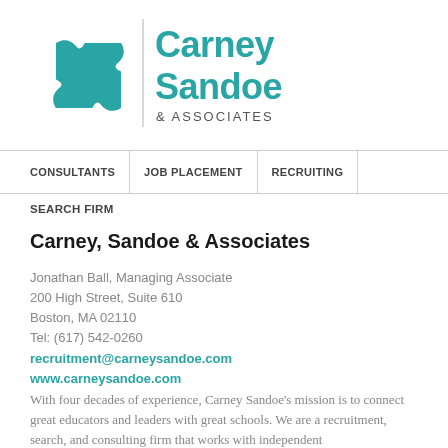[Figure (logo): Carney Sandoe & Associates logo with teal puzzle piece icon and teal text]
CONSULTANTS | JOB PLACEMENT | RECRUITING
SEARCH FIRM
Carney, Sandoe & Associates
Jonathan Ball, Managing Associate
200 High Street, Suite 610
Boston, MA 02110
Tel: (617) 542-0260
recruitment@carneysandoe.com
www.carneysandoe.com
With four decades of experience, Carney Sandoe's mission is to connect great educators and leaders with great schools. We are a recruitment, search, and consulting firm that works with independent